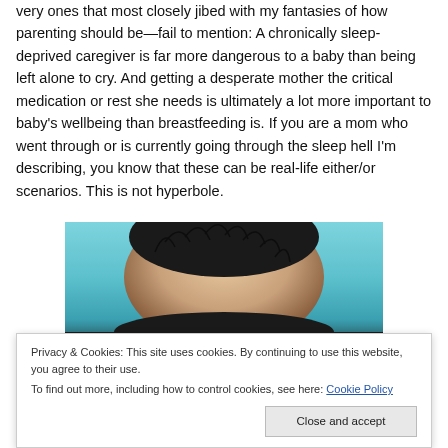very ones that most closely jibed with my fantasies of how parenting should be—fail to mention: A chronically sleep-deprived caregiver is far more dangerous to a baby than being left alone to cry. And getting a desperate mother the critical medication or rest she needs is ultimately a lot more important to baby's wellbeing than breastfeeding is. If you are a mom who went through or is currently going through the sleep hell I'm describing, you know that these can be real-life either/or scenarios. This is not hyperbole.
[Figure (photo): Close-up photo of a baby's head from above, showing dark hair against a teal/blue background, with the lower portion showing the baby's forehead.]
Privacy & Cookies: This site uses cookies. By continuing to use this website, you agree to their use.
To find out more, including how to control cookies, see here: Cookie Policy